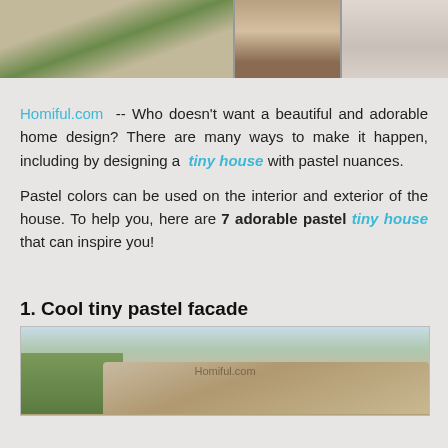[Figure (photo): Three horizontal photos at the top: a pathway with grass stripes, a bedroom with red and tan bedding, and a white bathroom/closet area]
Homiful.com -- Who doesn't want a beautiful and adorable home design? There are many ways to make it happen, including by designing a tiny house with pastel nuances.
Pastel colors can be used on the interior and exterior of the house. To help you, here are 7 adorable pastel tiny house that can inspire you!
1. Cool tiny pastel facade
[Figure (photo): Photo of a tiny house with a terracotta tile roof and pastel beige facade, with greenery and blue sky in the background. Watermark: Homiful.com]